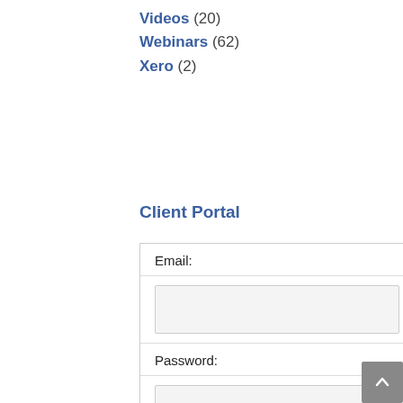Videos (20)
Webinars (62)
Xero (2)
Client Portal
Email:
Password:
LOG IN